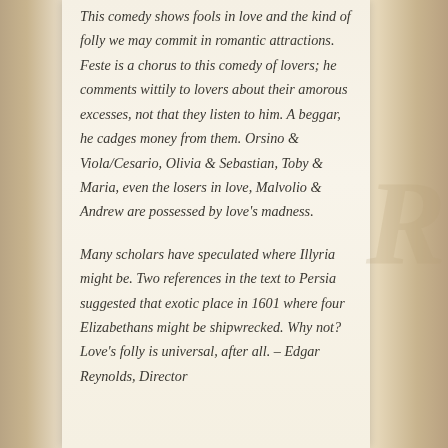This comedy shows fools in love and the kind of folly we may commit in romantic attractions. Feste is a chorus to this comedy of lovers; he comments wittily to lovers about their amorous excesses, not that they listen to him. A beggar, he cadges money from them. Orsino & Viola/Cesario, Olivia & Sebastian, Toby & Maria, even the losers in love, Malvolio & Andrew are possessed by love's madness.

Many scholars have speculated where Illyria might be. Two references in the text to Persia suggested that exotic place in 1601 where four Elizabethans might be shipwrecked. Why not? Love's folly is universal, after all. – Edgar Reynolds, Director